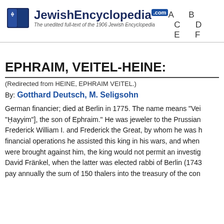JewishEncyclopedia.com — The unedited full-text of the 1906 Jewish Encyclopedia — A B C D E ...
EPHRAIM, VEITEL-HEINE:
(Redirected from HEINE, EPHRAIM VEITEL.)
By: Gotthard Deutsch, M. Seligsohn
German financier; died at Berlin in 1775. The name means "Vei... "Hayyim"], the son of Ephraim." He was jeweler to the Prussian Frederick William I. and Frederick the Great, by whom he was h... financial operations he assisted this king in his wars, and when... were brought against him, the king would not permit an investig... David Fränkel, when the latter was elected rabbi of Berlin (1743... pay annually the sum of 150 thalers into the treasury of the con...